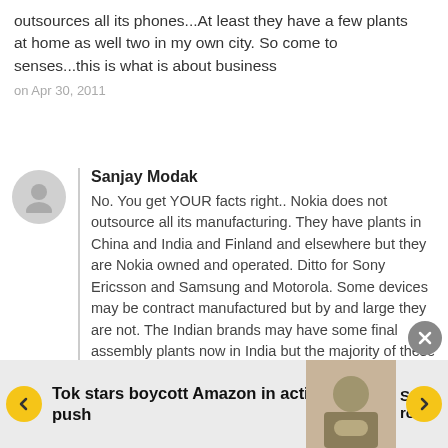outsources all its phones...At least they have a few plants at home as well two in my own city. So come to senses...this is what is about business
on Apr 30, 2011
Sanjay Modak
No. You get YOUR facts right.. Nokia does not outsource all its manufacturing. They have plants in China and India and Finland and elsewhere but they are Nokia owned and operated. Ditto for Sony Ericsson and Samsung and Motorola. Some devices may be contract manufactured but by and large they are not. The Indian brands may have some final assembly plants now in India but the majority of these handsets, including the chipset and motherboard are assembled in China. Get your facts right before saying things that don't make sense.
on Apr 30, 2011
Tok stars boycott Amazon in activism push
Stu... ro...